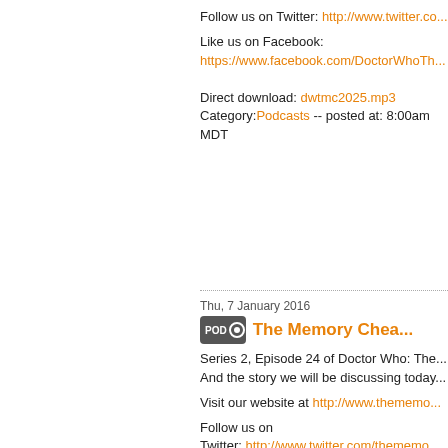Follow us on Twitter: http://www.twitter.co...
Like us on Facebook:
https://www.facebook.com/DoctorWhoTh...
Direct download: dwtmc2025.mp3
Category:Podcasts -- posted at: 8:00am MDT
Thu, 7 January 2016
The Memory Chea...
Series 2, Episode 24 of Doctor Who: The...
And the story we will be discussing today...
Visit our website at http://www.thememo...
Follow us on
Twitter: http://www.twitter.com/thememo...
Like us on Facebook:
https://www.facebook.com/DoctorWhoTh...
Direct download: dwtmc2024.mp3